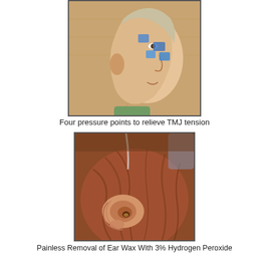[Figure (photo): Side profile photo of a person's face with four blue square pressure point markers placed on the cheek and temple area near the jaw joint (TMJ region).]
Four pressure points to relieve TMJ tension
[Figure (photo): Close-up photo of a person's ear shown from above/side angle with reddish-brown hair, showing the ear canal area, used to illustrate ear wax removal procedure.]
Painless Removal of Ear Wax With 3% Hydrogen Peroxide